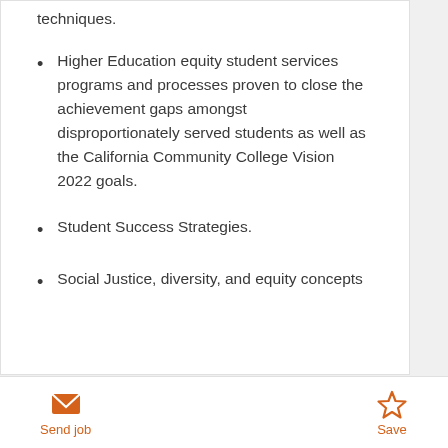techniques.
Higher Education equity student services programs and processes proven to close the achievement gaps amongst disproportionately served students as well as the California Community College Vision 2022 goals.
Student Success Strategies.
Social Justice, diversity, and equity concepts
Send job  Save